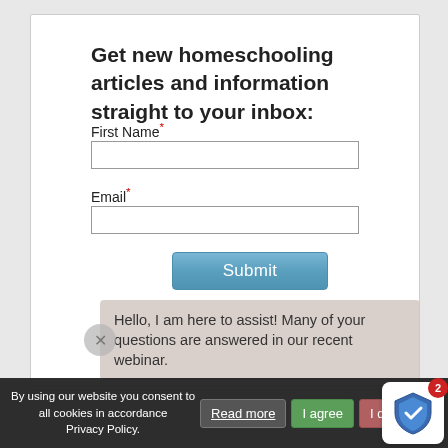Get new homeschooling articles and information straight to your inbox:
First Name*
Email*
Submit
By using our website you consent to all cookies in accordance Privacy Policy. Read more  I agree  I disagree
Hello, I am here to assist! Many of your questions are answered in our recent webinar.